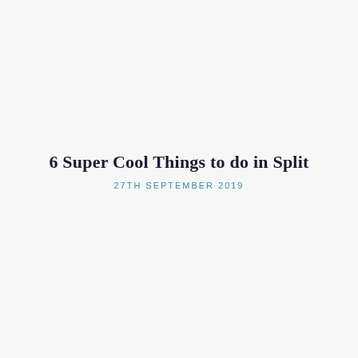6 Super Cool Things to do in Split
27TH SEPTEMBER 2019